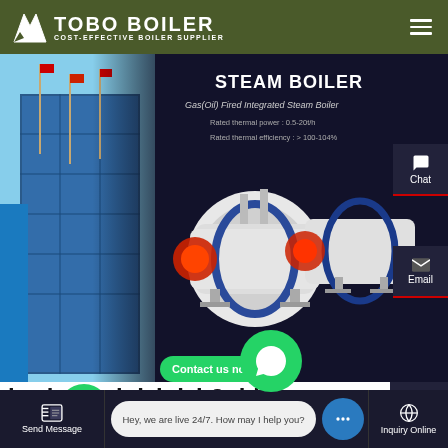TOBO BOILER - COST-EFFECTIVE BOILER SUPPLIER
[Figure (screenshot): Hero banner showing steam boiler products with building background on left and dark background on right. Text reads: STEAM BOILER, Gas(Oil) Fired Integrated Steam Boiler, Rated thermal power: 0.5-20t/h, Rated thermal efficiency: > 100-104%. Industrial boiler machines shown. Chat and Email sidebar buttons on right.]
horizontal dzl dzh3t biomass package boiler Agent
Contact us now!
Hey, we are live 24/7. How may I help you?
Send Message   Inquiry Online